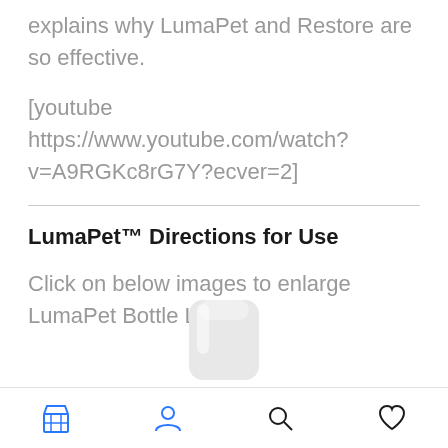explains why LumaPet and Restore are so effective.
[youtube https://www.youtube.com/watch?v=A9RGKc8rG7Y?ecver=2]
LumaPet™ Directions for Use
Click on below images to enlarge LumaPet Bottle Labels.
[Figure (photo): Partial view of a white cylindrical LumaPet bottle]
Navigation bar with store, profile, search, and wishlist icons